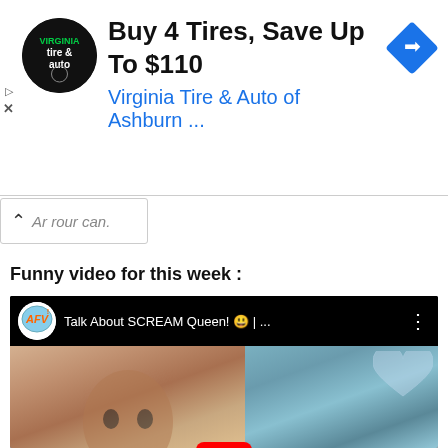[Figure (screenshot): Advertisement banner for Virginia Tire & Auto of Ashburn with logo, title 'Buy 4 Tires, Save Up To $110', subtitle 'Virginia Tire & Auto of Ashburn ...', and a blue diamond arrow icon. Triangular play icon and X dismiss button on the left.]
Ar rour can.
Funny video for this week :
[Figure (screenshot): Embedded YouTube video from AFV channel titled 'Talk About SCREAM Queen! 😁 | ...' with a split-screen thumbnail showing a woman with wide eyes on the left and a girl with blonde hair and red shirt on the right with a heart decoration on the wall.]